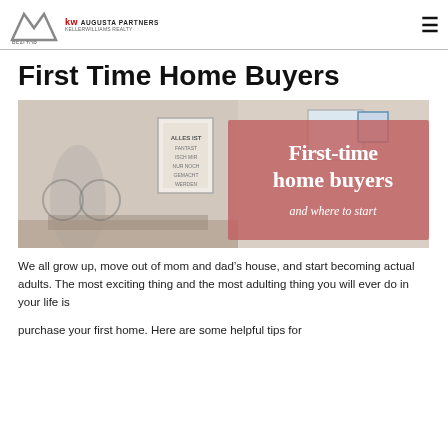REALTOR — KW AUGUSTA PARTNERS — KELLERWILLIAMS REALTY
First Time Home Buyers
[Figure (illustration): Promotional banner image for first-time home buyers. Left side shows a blurred photo of a desk/room interior with a framed poster reading 'ALLES IST'. Right side features a rose/salmon-colored overlay with white serif text reading 'First-time home buyers and where to start'.]
We all grow up, move out of mom and dad’s house, and start becoming actual adults. The most exciting thing and the most adulting thing you will ever do in your life is
purchase your first home. Here are some helpful tips for